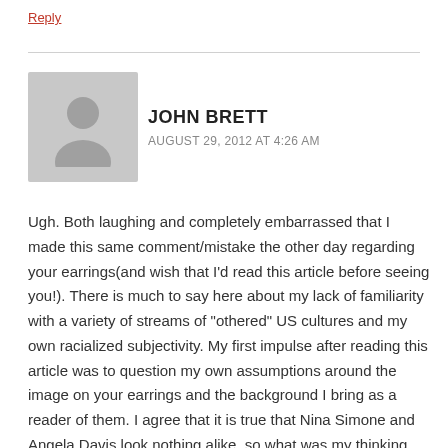Reply
JOHN BRETT
AUGUST 29, 2012 AT 4:26 AM
Ugh. Both laughing and completely embarrassed that I made this same comment/mistake the other day regarding your earrings(and wish that I'd read this article before seeing you!). There is much to say here about my lack of familiarity with a variety of streams of "othered" US cultures and my own racialized subjectivity. My first impulse after reading this article was to question my own assumptions around the image on your earrings and the background I bring as a reader of them. I agree that it is true that Nina Simone and Angela Davis look nothing alike, so what was my thinking process that led me to